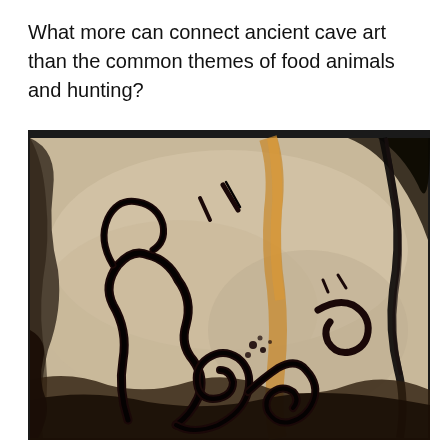What more can connect ancient cave art than the common themes of food animals and hunting?
[Figure (photo): Photograph of ancient cave art on rock surface showing dark painted animal figures, likely from Lascaux or similar prehistoric cave, with swirling black lines depicting animals against a beige and brown stone background with orange mineral streaks.]